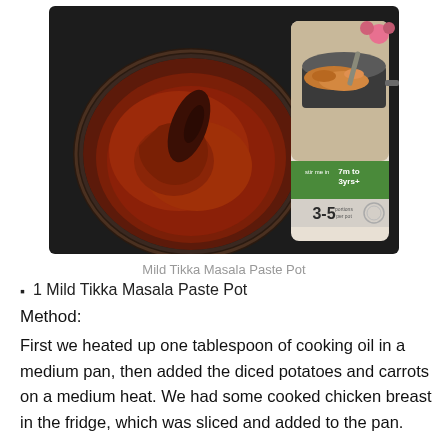[Figure (photo): A bowl of dark red-brown Tikka Masala paste next to a product packaging pouch showing a stir-fry pan with food, labeled '7m to 3yrs+' and '3-5 portions per pot', on a dark surface.]
Mild Tikka Masala Paste Pot
1 Mild Tikka Masala Paste Pot
Method:
First we heated up one tablespoon of cooking oil in a medium pan, then added the diced potatoes and carrots on a medium heat. We had some cooked chicken breast in the fridge, which was sliced and added to the pan.